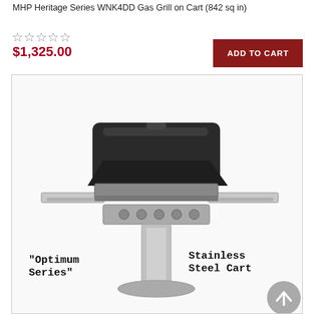MHP Heritage Series WNK4DD Gas Grill on Cart (842 sq in)
$1,325.00
ADD TO CART
[Figure (photo): MHP Heritage Series WNK4DD Gas Grill on a stainless steel cart, with labels 'Optimum Series' on the left and 'Stainless Steel Cart' on the right]